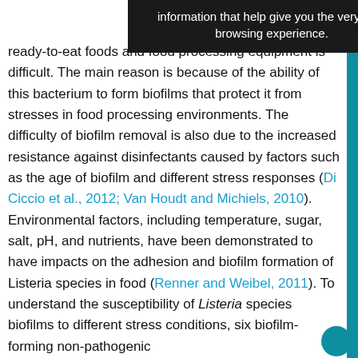[Figure (screenshot): Dark tooltip/overlay box with white text reading 'information that help give you the very best browsing experience.']
ready-to-eat foods and food processing equipment is difficult. The main reason is because of the ability of this bacterium to form biofilms that protect it from stresses in food processing environments. The difficulty of biofilm removal is also due to the increased resistance against disinfectants caused by factors such as the age of biofilm and different stress responses (Di Ciccio et al., 2012; Van Houdt and Michiels, 2010). Environmental factors, including temperature, sugar, salt, pH, and nutrients, have been demonstrated to have impacts on the adhesion and biofilm formation of Listeria species in food (Renner and Weibel, 2011). To understand the susceptibility of Listeria species biofilms to different stress conditions, six biofilm-forming non-pathogenic